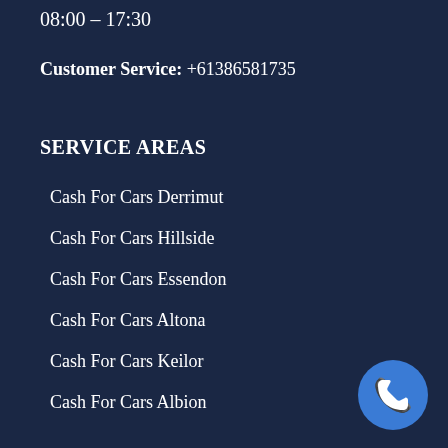08:00 – 17:30
Customer Service: +61386581735
SERVICE AREAS
Cash For Cars Derrimut
Cash For Cars Hillside
Cash For Cars Essendon
Cash For Cars Altona
Cash For Cars Keilor
Cash For Cars Albion
[Figure (illustration): Blue circular phone/call button icon in bottom right corner]